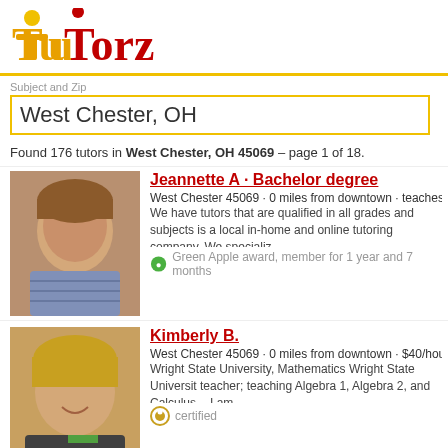[Figure (logo): TuTorz logo with stylized text in orange and red colors]
Subject and Zip
West Chester, OH
Found 176 tutors in West Chester, OH 45069 – page 1 of 18.
Jeannette A · Bachelor degree
West Chester 45069 · 0 miles from downtown · teaches Acco
We have tutors that are qualified in all grades and subjects is a local in-home and online tutoring company. We specializ
Green Apple award, member for 1 year and 7 months
Kimberly B.
West Chester 45069 · 0 miles from downtown · $40/hour · t
Wright State University, Mathematics Wright State Universit teacher; teaching Algebra 1, Algebra 2, and Calculus. - I am
certified
Meg N.
West Chester 45069 · 0 miles from downtown · $40/hour · t